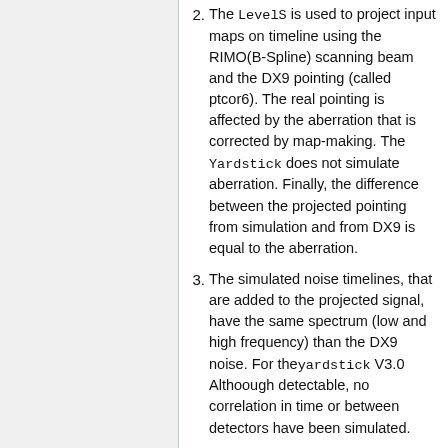2. The LevelS is used to project input maps on timeline using the RIMO(B-Spline) scanning beam and the DX9 pointing (called ptcor6). The real pointing is affected by the aberration that is corrected by map-making. The Yardstick does not simulate aberration. Finally, the difference between the projected pointing from simulation and from DX9 is equal to the aberration.
3. The simulated noise timelines, that are added to the projected signal, have the same spectrum (low and high frequency) than the DX9 noise. For the yardstick V3.0 Althoough detectable, no correlation in time or between detectors have been simulated.